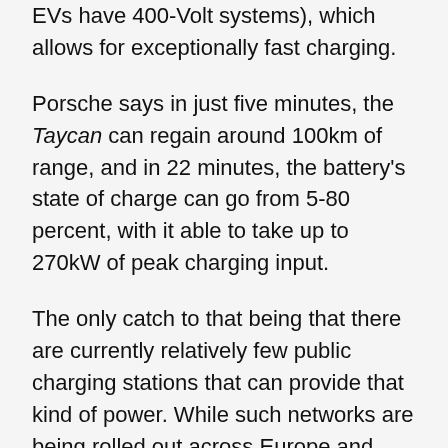EVs have 400-Volt systems), which allows for exceptionally fast charging.
Porsche says in just five minutes, the Taycan can regain around 100km of range, and in 22 minutes, the battery's state of charge can go from 5-80 percent, with it able to take up to 270kW of peak charging input.
The only catch to that being that there are currently relatively few public charging stations that can provide that kind of power. While such networks are being rolled out across Europe and North America (Tesla's Superchargers being the most prominent example), such infrastructure isn't yet available here.
SP Group and most recently Shell have introduced public direct-current (DC) charging stations, but those only have a maximum output of 50kW, though SP Group has said it would be building 350kW-capable stations over the